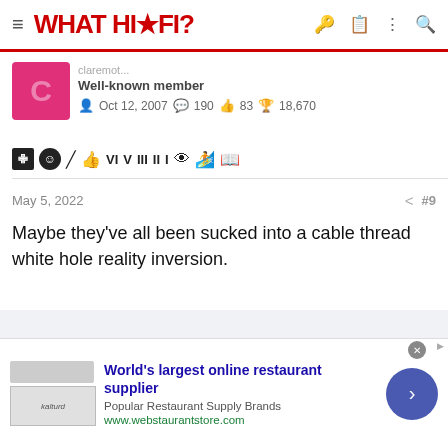WHAT HI·FI?
Well-known member
Oct 12, 2007  190  83  18,670
May 5, 2022  #9
Maybe they've all been sucked into a cable thread white hole reality inversion.
[Figure (screenshot): Advertisement for webstaurantstore.com: World's largest online restaurant supplier]
World's largest online restaurant supplier
Popular Restaurant Supply Brands
www.webstaurantstore.com